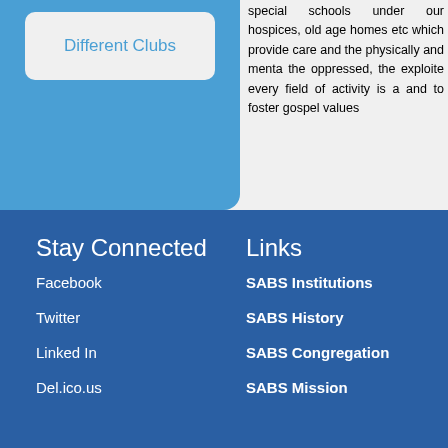Different Clubs
special schools under our hospices, old age homes etc which provide care and the physically and mentally the oppressed, the exploited every field of activity is a and to foster gospel values
Stay Connected
Facebook
Twitter
Linked In
Del.ico.us
Links
SABS Institutions
SABS History
SABS Congregation
SABS Mission